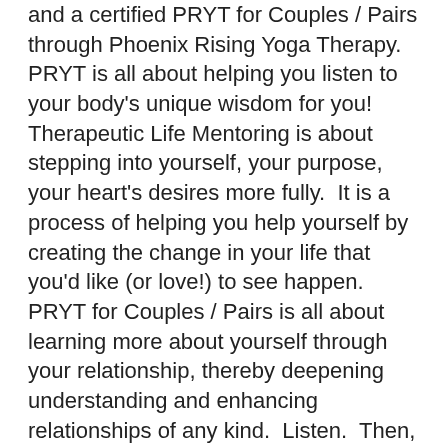and a certified PRYT for Couples / Pairs through Phoenix Rising Yoga Therapy.   PRYT is all about helping you listen to your body's unique wisdom for you!  Therapeutic Life Mentoring is about stepping into yourself, your purpose, your heart's desires more fully.  It is a process of helping you help yourself by creating the change in your life that you'd like (or love!) to see happen.  PRYT for Couples / Pairs is all about learning more about yourself through your relationship, thereby deepening understanding and enhancing relationships of any kind.  Listen.  Then, if it intrigues you, contact me!
Would you like to learn more about PRYT?  This webinar is geared to those who may want to become PRYT therapists, yet it holds so many beautiful explanations about how our body holds truth and wisdom for us when we are willing to